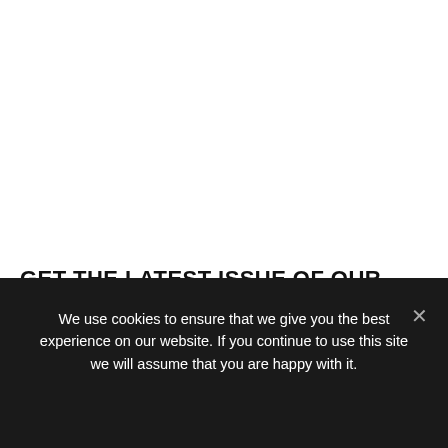GET THE LATEST ISSUE OF OUR FREE PS VITA MAGAZINE NOW!
We use cookies to ensure that we give you the best experience on our website. If you continue to use this site we will assume that you are happy with it.